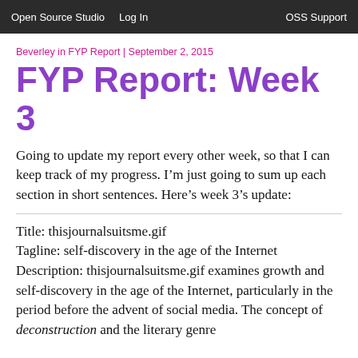Open Source Studio   Log In   OSS Support
Beverley in FYP Report | September 2, 2015
FYP Report: Week 3
Going to update my report every other week, so that I can keep track of my progress. I’m just going to sum up each section in short sentences. Here’s week 3’s update:
Title: thisjournalsuitsme.gif
Tagline: self-discovery in the age of the Internet
Description: thisjournalsuitsme.gif examines growth and self-discovery in the age of the Internet, particularly in the period before the advent of social media. The concept of deconstruction and the literary genre